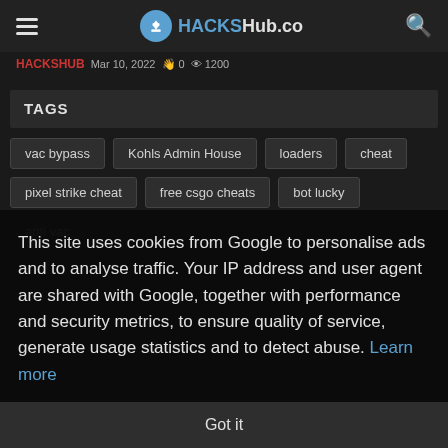HACKSHub.co
HACKSHUB  Mar 10, 2022  0  1200
TAGS
vac bypass
Kohls Admin House
loaders
cheat
pixel strike cheat
free csgo cheats
bot lucky
anti vac
This site uses cookies from Google to personalise ads and to analyse traffic. Your IP address and user agent are shared with Google, together with performance and security metrics, to ensure quality of service, generate usage statistics and to detect abuse. Learn more
Got it